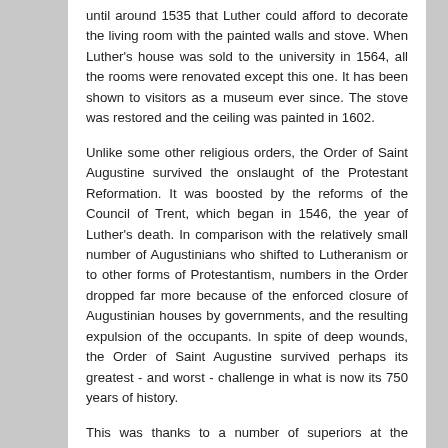until around 1535 that Luther could afford to decorate the living room with the painted walls and stove. When Luther's house was sold to the university in 1564, all the rooms were renovated except this one. It has been shown to visitors as a museum ever since. The stove was restored and the ceiling was painted in 1602.
Unlike some other religious orders, the Order of Saint Augustine survived the onslaught of the Protestant Reformation. It was boosted by the reforms of the Council of Trent, which began in 1546, the year of Luther's death. In comparison with the relatively small number of Augustinians who shifted to Lutheranism or to other forms of Protestantism, numbers in the Order dropped far more because of the enforced closure of Augustinian houses by governments, and the resulting expulsion of the occupants. In spite of deep wounds, the Order of Saint Augustine survived perhaps its greatest - and worst - challenge in what is now its 750 years of history.
This was thanks to a number of superiors at the General and Provincial (i.e., international and regional) levels, who adhered tenaciously to their task of leadership and stayed focused on the goal of reform of the Order. Their efforts were blessed with considerable success because a large majority of the members